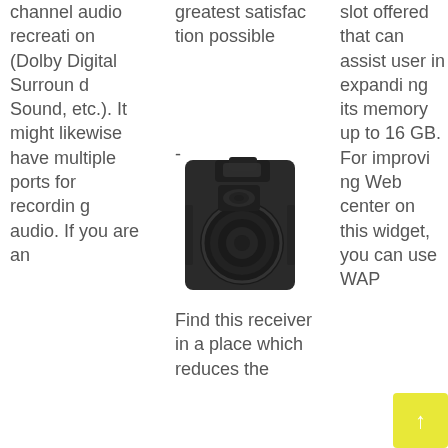channel audio recreation (Dolby Digital Surround Sound, etc.). It might likewise have multiple ports for recording audio. If you are an
greatest satisfaction possible
-
[Figure (photo): A black portable PA speaker / audio receiver unit]
Find this receiver in a place which reduces the
slot offered that can assist user in expanding its memory up to 16 GB. For improving Web center on this widget, you can use WAP 2.0/